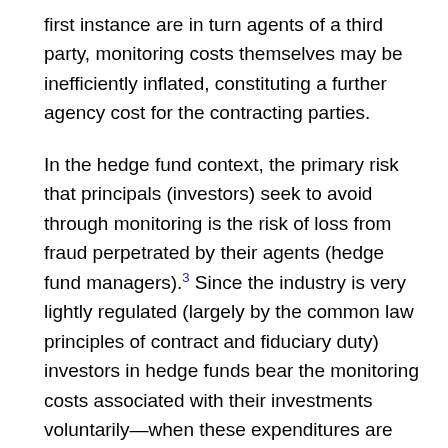first instance are in turn agents of a third party, monitoring costs themselves may be inefficiently inflated, constituting a further agency cost for the contracting parties.
In the hedge fund context, the primary risk that principals (investors) seek to avoid through monitoring is the risk of loss from fraud perpetrated by their agents (hedge fund managers).3 Since the industry is very lightly regulated (largely by the common law principles of contract and fiduciary duty) investors in hedge funds bear the monitoring costs associated with their investments voluntarily—when these expenditures are lower than their fraud costs would be in the absence of monitoring.4
Monitoring in hedge funds is accomplished through in-house back-office personnel, in-house counsel, third-party custodians (often doubling as fund's prime broker), third-